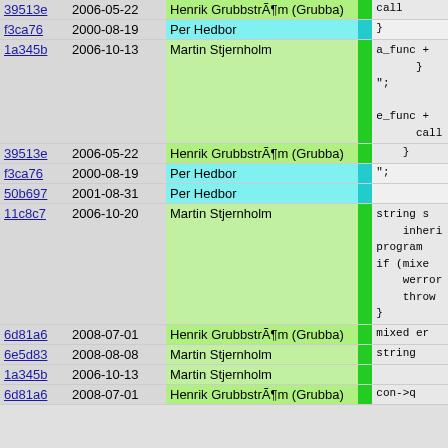| hash | date | author | sep | code |
| --- | --- | --- | --- | --- |
| 39513e | 2006-05-22 | Henrik GrubbstrÃ¶m (Grubba) |  | call |
| f3ca76 | 2000-08-19 | Per Hedbor |  | } |
| 1a345b | 2006-10-13 | Martin Stjernholm |  | a_func +
    }
";

e_func +
    call |
| 39513e | 2006-05-22 | Henrik GrubbstrÃ¶m (Grubba) |  | } |
| f3ca76 | 2000-08-19 | Per Hedbor |  | "; |
| 50b697 | 2001-08-31 | Per Hedbor |  |  |
| 11c8c7 | 2006-10-20 | Martin Stjernholm |  | string s
    inheri
program
if (mixe
    werror
    throw
} |
| 6d81a6 | 2008-07-01 | Henrik GrubbstrÃ¶m (Grubba) |  | mixed er |
| 6e5d83 | 2008-08-08 | Martin Stjernholm |  | string |
| 1a345b | 2006-10-13 | Martin Stjernholm |  |  |
| 6d81a6 | 2008-07-01 | Henrik GrubbstrÃ¶m (Grubba) |  | con->q |